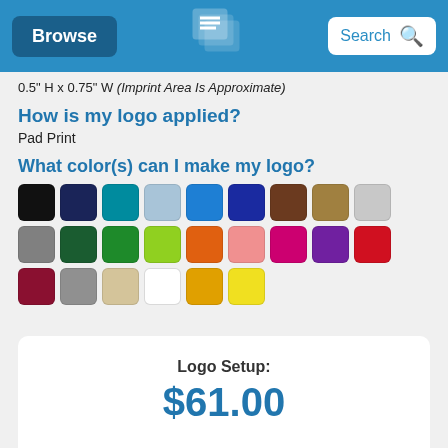Browse | [Logo] | Search
0.5" H x 0.75" W (Imprint Area Is Approximate)
How is my logo applied?
Pad Print
What color(s) can I make my logo?
[Figure (infographic): Grid of 24 color swatches showing available logo colors including black, navy, teal, light blue, blue, dark blue, brown, tan, light gray, gray, dark green, green, lime green, orange, pink, magenta, purple, red, dark red, medium gray, beige, white, gold, yellow]
Logo Setup: $61.00